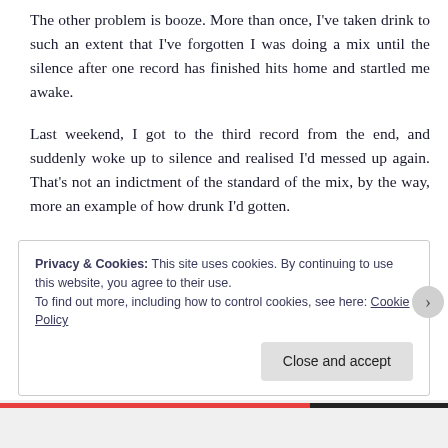The other problem is booze. More than once, I've taken drink to such an extent that I've forgotten I was doing a mix until the silence after one record has finished hits home and startled me awake.
Last weekend, I got to the third record from the end, and suddenly woke up to silence and realised I'd messed up again. That's not an indictment of the standard of the mix, by the way, more an example of how drunk I'd gotten.
Privacy & Cookies: This site uses cookies. By continuing to use this website, you agree to their use.
To find out more, including how to control cookies, see here: Cookie Policy
Close and accept